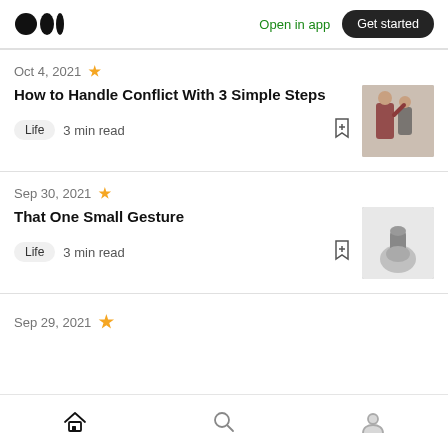Medium logo | Open in app | Get started
Oct 4, 2021
How to Handle Conflict With 3 Simple Steps
Life  3 min read
[Figure (photo): Two people in a conflict or discussion, one in a red plaid shirt]
Sep 30, 2021
That One Small Gesture
Life  3 min read
[Figure (photo): A hand holding a small object, black and white photo]
Sep 29, 2021
Home | Search | Profile